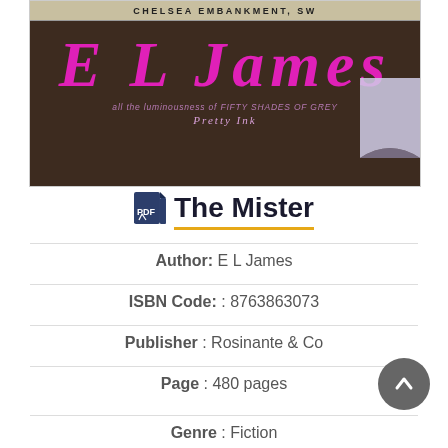[Figure (photo): Book cover of The Mister by E L James. Dark brown background with author name in large pink italic letters. Top has a street sign reading CHELSEA EMBANKMENT SW. Subtitle text: all the luminous energy of FIFTY SHADES OF GREY. Pretty Ink. Page curl in bottom right corner.]
The Mister
Author: E L James
ISBN Code: : 8763863073
Publisher : Rosinante & Co
Page : 480 pages
Genre : Fiction